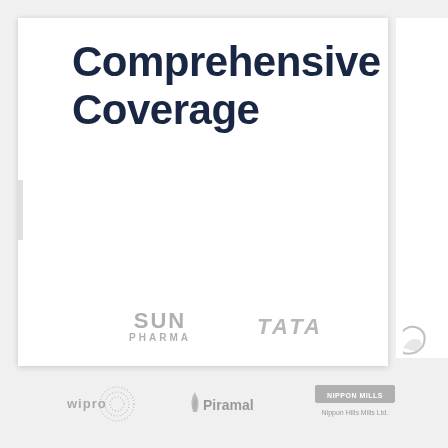Comprehensive Coverage
[Figure (logo): Sun Pharma logo in grey]
[Figure (logo): TATA logo in grey]
[Figure (logo): Wipro logo in grey]
[Figure (logo): Piramal logo in grey]
[Figure (logo): Nippon Hills Mills Ltd. logo in grey]